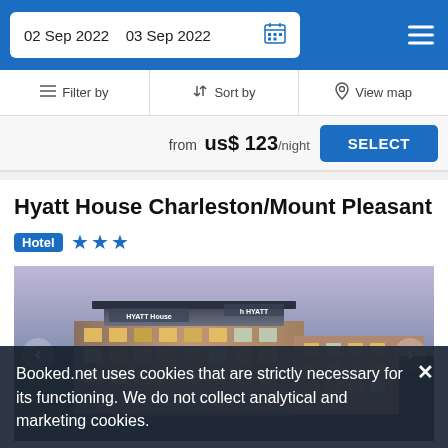02 Sep 2022   03 Sep 2022
Filter by   Sort by   View map
from us$ 123/night   SELECT
Hyatt House Charleston/Mount Pleasant
Hotel ★★★
[Figure (photo): Exterior photo of Hyatt House Charleston/Mount Pleasant hotel building at dusk, showing multi-story brick building with Hyatt House signage]
Booked.net uses cookies that are strictly necessary for its functioning. We do not collect analytical and marketing cookies.
Great